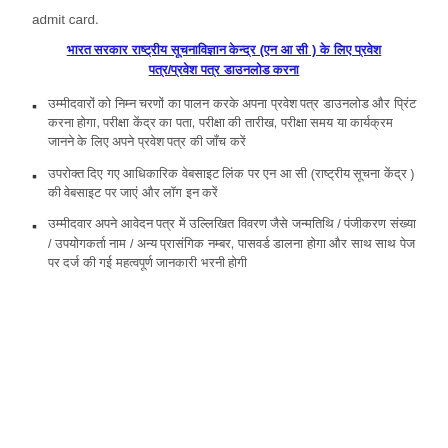admit card.
भारत सरकार राष्ट्रीय सूचनाविज्ञान केन्द्र (एन आ सी ) के लिए प्रवेश पत्र/प्रवेश पत्र डाउनलोड करना
उम्मीदवारों को निम्न चरणों का पालन करके अपना प्रवेश पत्र डाउनलोड और प्रिंट करना होगा, परीक्षा केंद्र का पता, परीक्षा की तारीख, परीक्षा समय या कार्यक्रम जानने के लिए अपने प्रवेश पत्र की जाँच करें
उपरोक्त दिए गए आधिकारिक वेबसाइट लिंक पर एन आ सी (राष्ट्रीय सूचना केंद्र ) की वेबसाइट पर जाएं और लॉग इन करें
उम्मीदवार अपने आवेदन पत्र में उल्लिखित विवरण जैसे जन्मतिथि / पंजीकरण संख्या / उपयोगकर्ता नाम / अन्य प्रासंगिक नम्बर, पासवर्ड डालना होगा और साथ साथ पेज पर दर्ज की गई महत्वपूर्ण जानकारी भरनी होगी